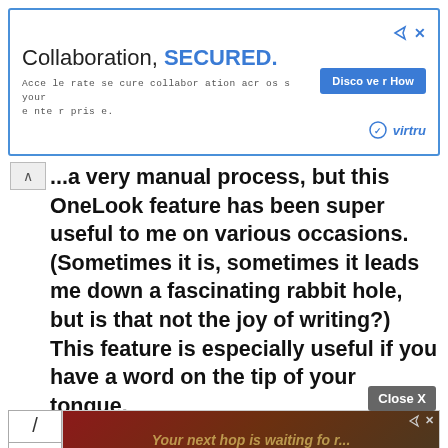[Figure (other): Advertisement banner: 'Collaboration, SECURED.' with subtitle 'Accelerate secure collaboration across your enterprise.' and a 'Discover How' button, virtru logo, blue border.]
...a very manual process, but this OneLook feature has been super useful to me on various occasions. (Sometimes it is, sometimes it leads me down a fascinating rabbit hole, but is that not the joy of writing?) This feature is especially useful if you have a word on the tip of your tongue.
Poets and poetic stylists take note: You can search the thesaurus by meter:
[Figure (other): Bottom advertisement banner with reddish-brown background showing 'Your next hop is waiting for...' text and an image of animals. Close X button visible above. Slash symbol boxes on the left.]